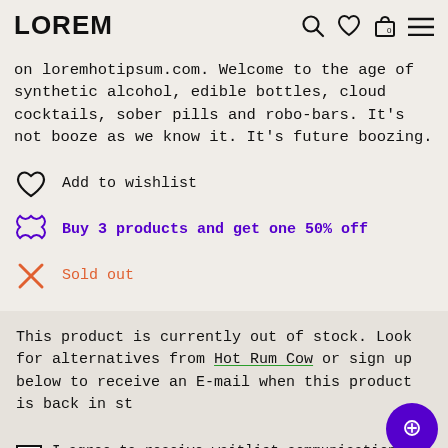LOREM
on loremhotipsum.com. Welcome to the age of synthetic alcohol, edible bottles, cloud cocktails, sober pills and robo-bars. It’s not booze as we know it. It’s future boozing.
Add to wishlist
Buy 3 products and get one 50% off
Sold out
This product is currently out of stock. Look for alternatives from Hot Rum Cow or sign up below to receive an E-mail when this product is back in stock
I agree to receive waitlist communications by